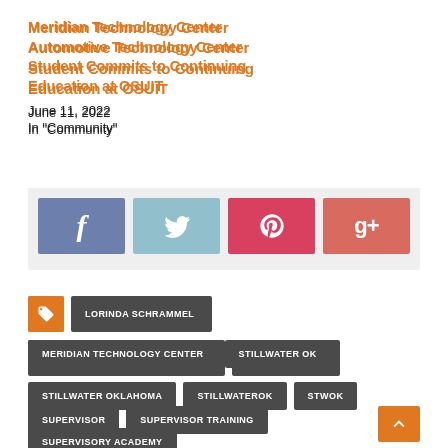Meridian Technology Center Automotive Technology Center Student Commits to Continuing Education at OSUIT
June 11, 2022
In "Community"
[Figure (infographic): Social share buttons: Facebook (blue-gray), Twitter (light blue), Pinterest (red), Google+ (salmon/red)]
LORINDA SCHRAMMEL
MERIDIAN TECHNOLOGY CENTER
STILLWATER OK
STILLWATER OKLAHOMA
STILLWATEROK
STWOK
SUPERVISOR
SUPERVISOR TRAINING
SUPERVISORY ACADEMY